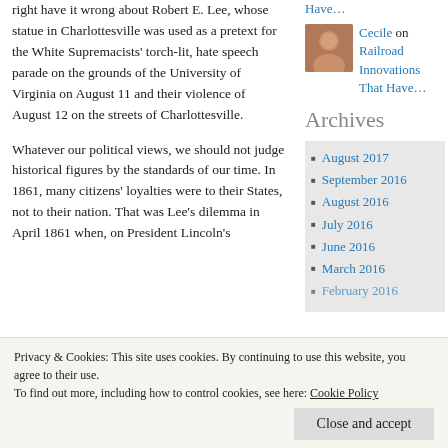right have it wrong about Robert E. Lee, whose statue in Charlottesville was used as a pretext for the White Supremacists' torch-lit, hate speech parade on the grounds of the University of Virginia on August 11 and their violence of August 12 on the streets of Charlottesville.
Whatever our political views, we should not judge historical figures by the standards of our time. In 1861, many citizens' loyalties were to their States, not to their nation. That was Lee's dilemma in April 1861 when, on President Lincoln's
Have…
Cecile on Railroad Innovations That Have…
Archives
August 2017
September 2016
August 2016
July 2016
June 2016
March 2016
February 2016
Privacy & Cookies: This site uses cookies. By continuing to use this website, you agree to their use.
To find out more, including how to control cookies, see here: Cookie Policy
Close and accept